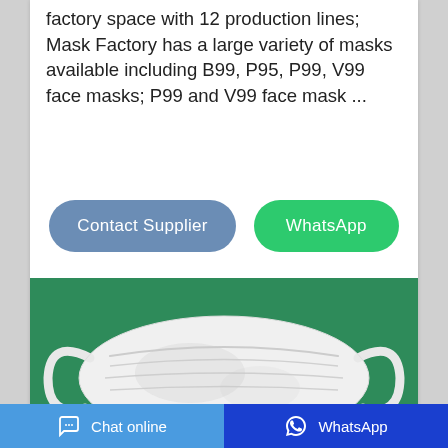factory space with 12 production lines; Mask Factory has a large variety of masks available including B99, P95, P99, V99 face masks; P99 and V99 face mask ...
[Figure (other): Two buttons: 'Contact Supplier' (blue-grey, rounded) and 'WhatsApp' (green, rounded)]
[Figure (photo): A white cloth/fabric face mask lying on a green background, with elastic ear loops]
Chat online   WhatsApp